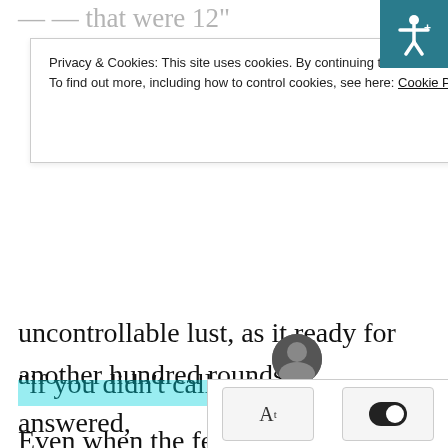uncontrollable lust, as it ready for another hundred rounds.
Even when the female snake was pushed down, she didn't forget to ask, “Ahh, who was it just now, outside and why did you suddenly have me make noise?”
“It was my owner.” She Qiu said without concealing, “if you didn’t call out and no one answered, he would have kicked the door down.”